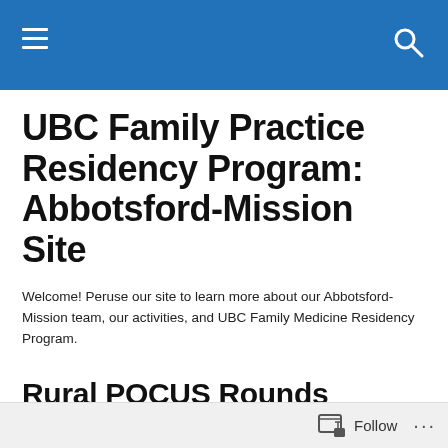UBC Family Practice Residency Program: Abbotsford-Mission Site — navigation bar
UBC Family Practice Residency Program: Abbotsford-Mission Site
Welcome! Peruse our site to learn more about our Abbotsford-Mission team, our activities, and UBC Family Medicine Residency Program.
Rural POCUS Rounds
Registration is now open for the newest Rural POCUS Rounds webinar series: Ultrasound for Shock. Over the next six months, we invite you to join us as we discuss five
Follow ...